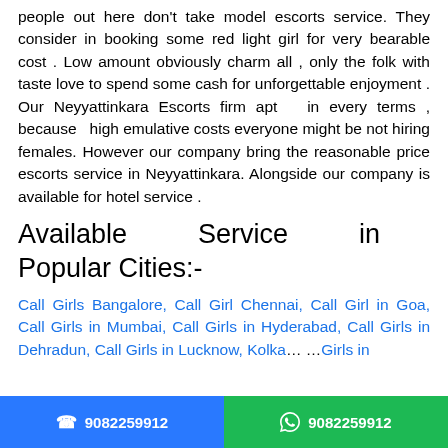people out here don't take model escorts service. They consider in booking some red light girl for very bearable cost . Low amount obviously charm all , only the folk with taste love to spend some cash for unforgettable enjoyment . Our Neyyattinkara Escorts firm apt in every terms , because high emulative costs everyone might be not hiring females. However our company bring the reasonable price escorts service in Neyyattinkara. Alongside our company is available for hotel service .
Available Service in Popular Cities:-
Call Girls Bangalore, Call Girl Chennai, Call Girl in Goa, Call Girls in Mumbai, Call Girls in Hyderabad, Call Girls in Dehradun, Call Girls in Lucknow, Kolka... ...Girls in
9082259912  9082259912